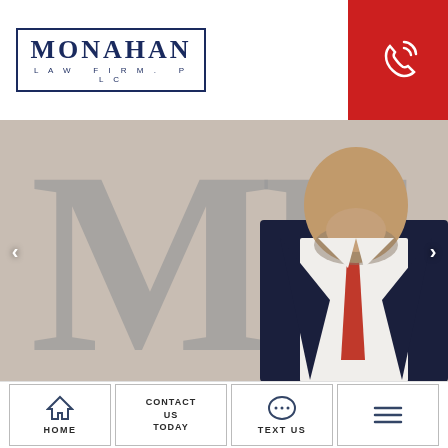[Figure (logo): Monahan Law Firm, PLC logo with navy blue border and serif text]
[Figure (photo): Phone/call icon in white on red background in top right corner]
[Figure (photo): Photo of attorney in dark suit and red tie standing in front of large metallic M letter logo on a beige wall]
HOME
CONTACT US TODAY
TEXT US
Menu (hamburger icon)